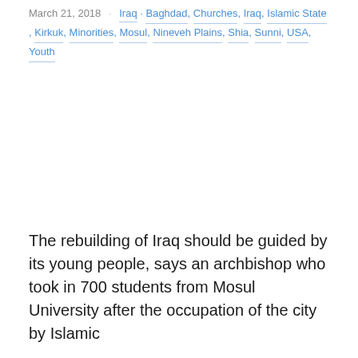March 21, 2018 · Iraq · Baghdad, Churches, Iraq, Islamic State, Kirkuk, Minorities, Mosul, Nineveh Plains, Shia, Sunni, USA, Youth
The rebuilding of Iraq should be guided by its young people, says an archbishop who took in 700 students from Mosul University after the occupation of the city by Islamic